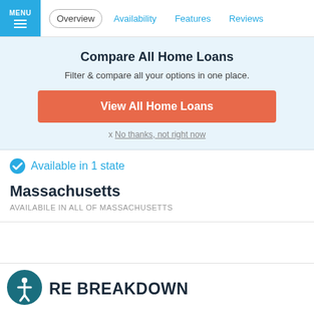MENU | Overview | Availability | Features | Reviews
Compare All Home Loans
Filter & compare all your options in one place.
View All Home Loans
x No thanks, not right now
Available in 1 state
Massachusetts
AVAILABILE IN ALL OF MASSACHUSETTS
RE BREAKDOWN